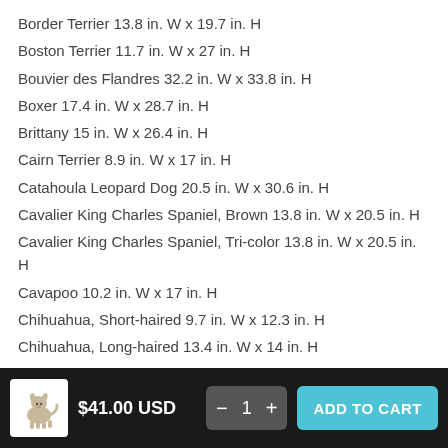Border Terrier 13.8 in. W x 19.7 in. H
Boston Terrier 11.7 in. W x 27 in. H
Bouvier des Flandres 32.2 in. W x 33.8 in. H
Boxer 17.4 in. W x 28.7 in. H
Brittany 15 in. W x 26.4 in. H
Cairn Terrier 8.9 in. W x 17 in. H
Catahoula Leopard Dog 20.5 in. W x 30.6 in. H
Cavalier King Charles Spaniel, Brown 13.8 in. W x 20.5 in. H
Cavalier King Charles Spaniel, Tri-color 13.8 in. W x 20.5 in. H
Cavapoo 10.2 in. W x 17 in. H
Chihuahua, Short-haired 9.7 in. W x 12.3 in. H
Chihuahua, Long-haired 13.4 in. W x 14 in. H
Cockapoo, Black 8.5 in. W x 15.4 in. H
Cockapoo, Golden 6.9 in. W x 15.3 in. H
Cocker Spaniel, Black 14.6 in. W x 24.8 in. H
Cocker Spaniel, Brown 14.6 in. W x 24.8 in. H
Corgi 20.3 in. W x 16.1 in. H
Dachshund 25.4 in. W x 12.3 in. H
$41.00 USD  —  1  +  ADD TO CART